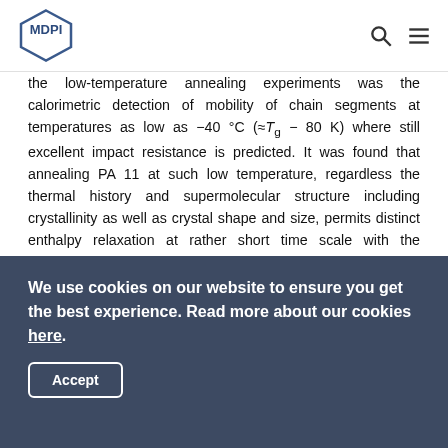MDPI
the low-temperature annealing experiments was the calorimetric detection of mobility of chain segments at temperatures as low as −40 °C (≈Tg − 80 K) where still excellent impact resistance is predicted. It was found that annealing PA 11 at such low temperature, regardless the thermal history and supermolecular structure including crystallinity as well as crystal shape and size, permits distinct enthalpy relaxation at rather short time scale with the structural changes reverting on subsequent heating as detected with pronounced sub-Tg-enthalpy-recovery peaks. The main glass transition, associated to large-amplitude segmental mobility, as well as relaxations at temperatures only slightly below Tg are even more distinctly sensitive to the crystal
We use cookies on our website to ensure you get the best experience. Read more about our cookies here.
Accept